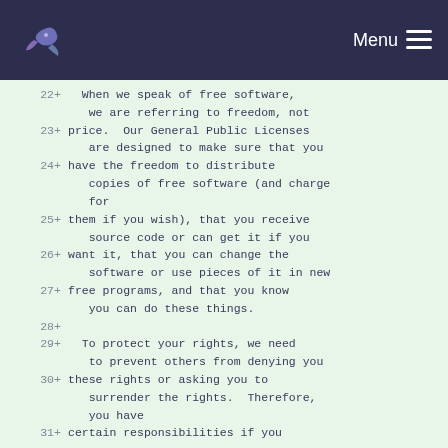Menu
22 +   When we speak of free software,
       we are referring to freedom, not
23 + price.  Our General Public Licenses
       are designed to make sure that you
24 + have the freedom to distribute
       copies of free software (and charge
       for
25 + them if you wish), that you receive
       source code or can get it if you
26 + want it, that you can change the
       software or use pieces of it in new
27 + free programs, and that you know
       you can do these things.
28 +
29 +   To protect your rights, we need
       to prevent others from denying you
30 + these rights or asking you to
       surrender the rights.  Therefore,
       you have
31 + certain responsibilities if you